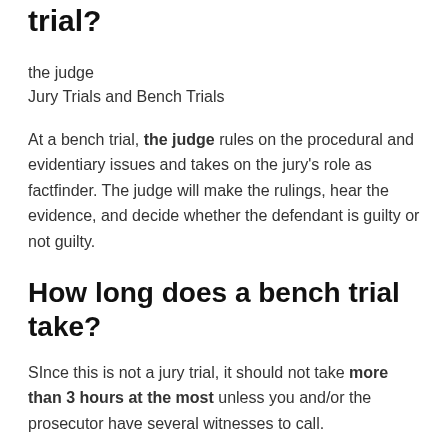trial?
the judge
Jury Trials and Bench Trials
At a bench trial, the judge rules on the procedural and evidentiary issues and takes on the jury's role as factfinder. The judge will make the rulings, hear the evidence, and decide whether the defendant is guilty or not guilty.
How long does a bench trial take?
SInce this is not a jury trial, it should not take more than 3 hours at the most unless you and/or the prosecutor have several witnesses to call.
Do you have a right to a bench